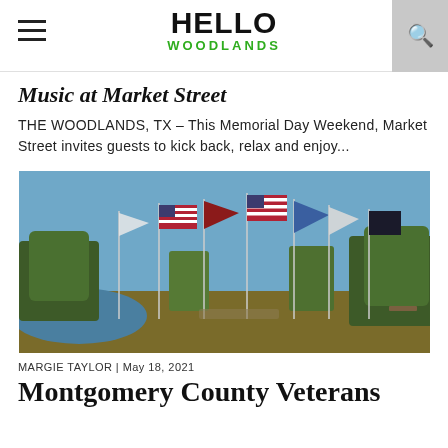HELLO WOODLANDS
Music at Market Street
THE WOODLANDS, TX – This Memorial Day Weekend, Market Street invites guests to kick back, relax and enjoy...
[Figure (photo): Outdoor scene with multiple flags on poles including American flags, a red Marine Corps flag, blue flags, and a POW/MIA flag, surrounded by trees and a body of water on the left, on a sunny day.]
MARGIE TAYLOR | May 18, 2021
Montgomery County Veterans